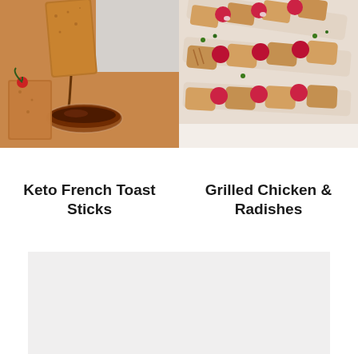[Figure (photo): Keto French Toast Sticks being held with syrup drizzling into a small glass bowl, with cinnamon-coated toast visible]
[Figure (photo): Grilled chicken and radishes on skewers arranged on a white plate, garnished with herbs]
Keto French Toast Sticks
Grilled Chicken & Radishes
[Figure (photo): Third recipe image placeholder (light gray box)]